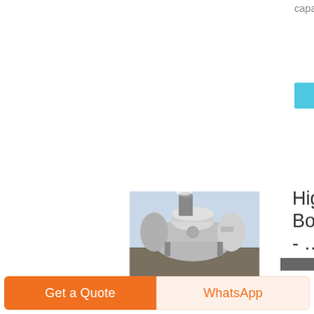capacity, use all kinds of gas and oil fuels,such as natural
learn More
[Figure (photo): Industrial marine vertical thermal hot oil boiler unit outdoors]
High Tech Marine Oil Fired Boiler Of Industrial Capacity - …
marine vertical thermal hot oil boiler for sale 1.product name:marine vertical thermal hot oil boiler for
Get a Quote
WhatsApp